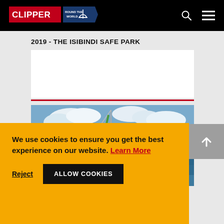[Figure (logo): Clipper Round the World sailing race logo — red rectangle with white 'CLIPPER' text, blue shield with 'ROUND THE WORLD' text and white sailboat graphic]
[Figure (photo): Crew members working on deck of a racing sailboat in rough seas with blue sky and clouds, wearing yellow gear and helmets]
2019 - THE ISIBINDI SAFE PARK
We use cookies to ensure you get the best experience on our website. Learn More
Reject
ALLOW COOKIES